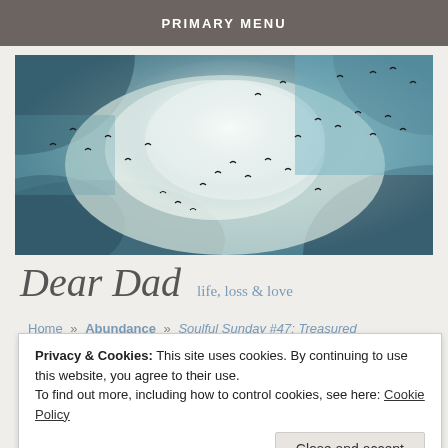PRIMARY MENU
[Figure (photo): Wide-angle photo of birds flying in a teal/blue sky with dramatic clouds and light rays breaking through, vintage-toned.]
Dear Dad
life, loss & love
Home » Abundance » Soulful Sunday #47: Treasured Friendships
Privacy & Cookies: This site uses cookies. By continuing to use this website, you agree to their use.
To find out more, including how to control cookies, see here: Cookie Policy
Close and accept